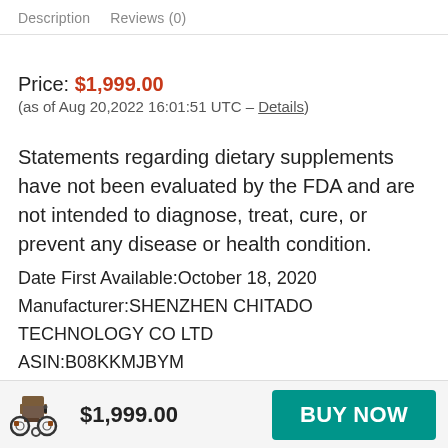Description   Reviews (0)
Price: $1,999.00
(as of Aug 20,2022 16:01:51 UTC – Details)
Statements regarding dietary supplements have not been evaluated by the FDA and are not intended to diagnose, treat, cure, or prevent any disease or health condition.
Date First Available:October 18, 2020
Manufacturer:SHENZHEN CHITADO TECHNOLOGY CO LTD
ASIN:B08KKMJBYM
$1,999.00
BUY NOW